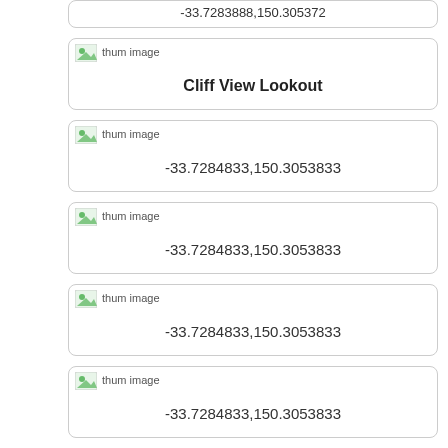-33.7283888,150.305372
[Figure (screenshot): Thumbnail image placeholder labeled 'thum image' with green icon]
Cliff View Lookout
[Figure (screenshot): Thumbnail image placeholder labeled 'thum image' with green icon]
-33.7284833,150.3053833
[Figure (screenshot): Thumbnail image placeholder labeled 'thum image' with green icon]
-33.7284833,150.3053833
[Figure (screenshot): Thumbnail image placeholder labeled 'thum image' with green icon]
-33.7284833,150.3053833
[Figure (screenshot): Thumbnail image placeholder labeled 'thum image' with green icon]
-33.7284833,150.3053833
[Figure (screenshot): Thumbnail image placeholder labeled 'thum image' with green icon]
Border of National Park looking at Cliff
[Figure (screenshot): Thumbnail image placeholder labeled 'thum image' with green icon]
-33.728505,150.3054116